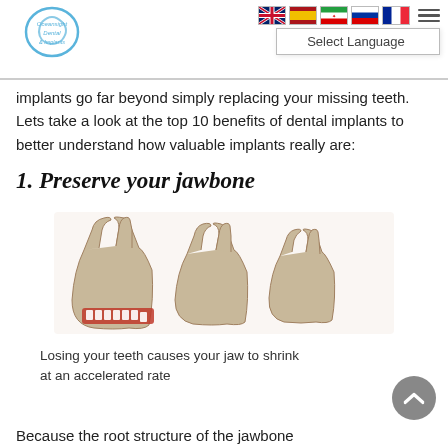Oceansight Dental & Implants | Select Language
implants go far beyond simply replacing your missing teeth. Lets take a look at the top 10 benefits of dental implants to better understand how valuable implants really are:
1. Preserve your jawbone
[Figure (illustration): Series of four jawbone illustrations showing progressive bone loss/shrinkage after tooth loss. The first jawbone has teeth with red gum tissue visible, subsequent jawbones show increasingly reduced bone structure.]
Losing your teeth causes your jaw to shrink at an accelerated rate
Because the root structure of the jawbone